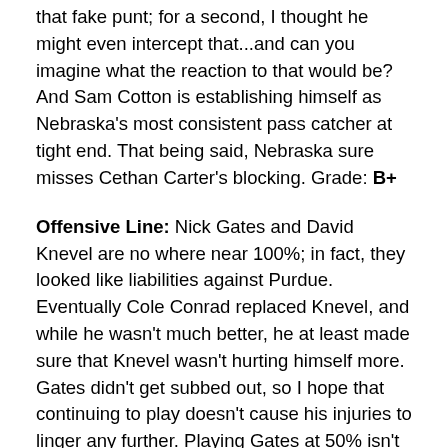that fake punt; for a second, I thought he might even intercept that...and can you imagine what the reaction to that would be? And Sam Cotton is establishing himself as Nebraska's most consistent pass catcher at tight end. That being said, Nebraska sure misses Cethan Carter's blocking. Grade: B+
Offensive Line: Nick Gates and David Knevel are no where near 100%; in fact, they looked like liabilities against Purdue. Eventually Cole Conrad replaced Knevel, and while he wasn't much better, he at least made sure that Knevel wasn't hurting himself more. Gates didn't get subbed out, so I hope that continuing to play doesn't cause his injuries to linger any further. Playing Gates at 50% isn't helping the team, and Nebraska really needs him to get better. Maybe Mike Cavanaugh is right; the guys on the bench can't help.